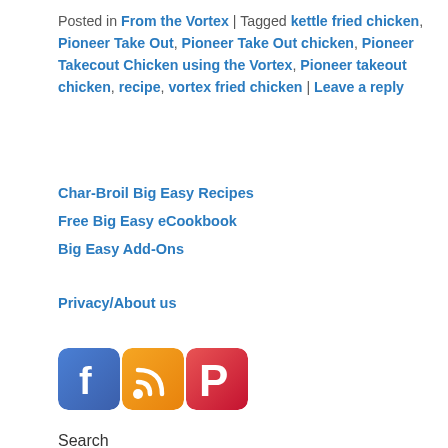Posted in From the Vortex | Tagged kettle fried chicken, Pioneer Take Out, Pioneer Take Out chicken, Pioneer Takecout Chicken using the Vortex, Pioneer takeout chicken, recipe, vortex fried chicken | Leave a reply
Char-Broil Big Easy Recipes
Free Big Easy eCookbook
Big Easy Add-Ons
Privacy/About us
[Figure (other): Social media icons: Facebook, RSS, Pinterest]
Search
Chicken Wing Recipes
Vortex